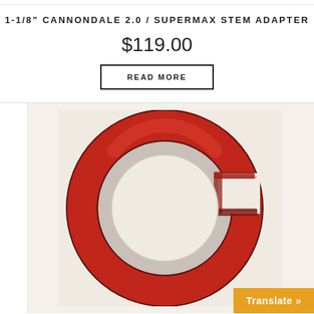1-1/8" CANNONDALE 2.0 / SUPERMAX STEM ADAPTER
$119.00
READ MORE
[Figure (photo): A red anodized aluminum C-shaped ring adapter (stem adapter) photographed on a light beige/white surface. The ring is open at approximately the 2 o'clock position.]
Translate »